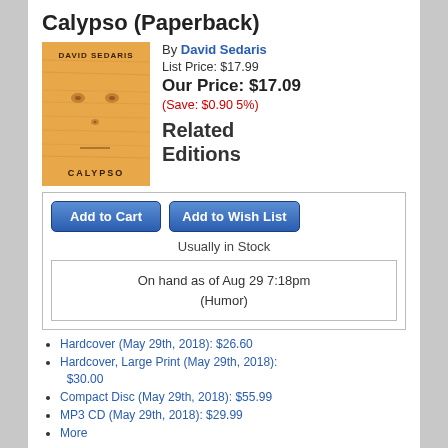Calypso (Paperback)
[Figure (photo): Book cover of Calypso by David Sedaris — wood-grain orange background with a face-like pattern of knots, text 'DAVID SEDARIS' at top and 'CALYPSO' at bottom]
By David Sedaris
List Price: $17.99
Our Price: $17.09
(Save: $0.90 5%)
Related Editions
Add to Cart
Add to Wish List
Usually in Stock
On hand as of Aug 29 7:18pm (Humor)
Hardcover (May 29th, 2018): $26.60
Hardcover, Large Print (May 29th, 2018): $30.00
Compact Disc (May 29th, 2018): $55.99
MP3 CD (May 29th, 2018): $29.99
More